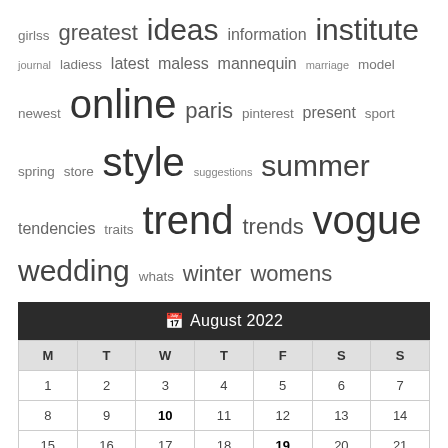[Figure (other): Tag cloud with words: girlss, greatest, ideas, information, institute, journal, ladiess, latest, maless, mannequin, marriage, model, newest, online, paris, pinterest, present, sport, spring, store, style, suggestions, summer, tendencies, traits, trend, trends, vogue, wedding, whats, winter, womens — varying font sizes indicating frequency.]
| M | T | W | T | F | S | S |
| --- | --- | --- | --- | --- | --- | --- |
| 1 | 2 | 3 | 4 | 5 | 6 | 7 |
| 8 | 9 | 10 | 11 | 12 | 13 | 14 |
| 15 | 16 | 17 | 18 | 19 | 20 | 21 |
| 22 | 23 | 24 | 25 | 26 | 27 | 28 |
| 29 | 30 | 31 |  |  |  |  |
« Jun